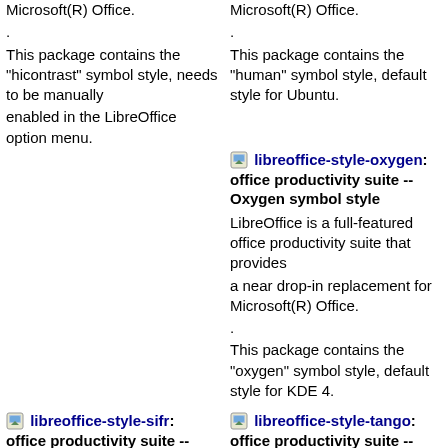Microsoft(R) Office.
.
This package contains the "hicontrast" symbol style, needs to be manually
enabled in the LibreOffice option menu.
Microsoft(R) Office.
.
This package contains the "human" symbol style, default style for Ubuntu.
libreoffice-style-oxygen: office productivity suite -- Oxygen symbol style
LibreOffice is a full-featured office productivity suite that provides
a near drop-in replacement for Microsoft(R) Office.
.
This package contains the "oxygen" symbol style, default style for KDE 4.
libreoffice-style-sifr: office productivity suite -- Sifr symbol style
LibreOffice is a full-featured office productivity suite that provides
libreoffice-style-tango: office productivity suite -- Tango symbol style
LibreOffice is a full-featured office productivity suite that provides